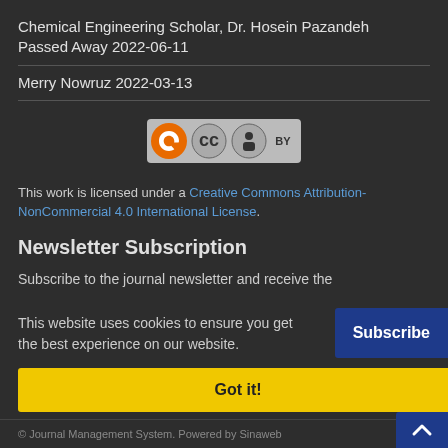Chemical Engineering Scholar, Dr. Hosein Pazandeh Passed Away 2022-06-11
Merry Nowruz 2022-03-13
[Figure (logo): Creative Commons Attribution (CC BY) license logo with open access orange icon on left]
This work is licensed under a Creative Commons Attribution-NonCommercial 4.0 International License.
Newsletter Subscription
Subscribe to the journal newsletter and receive the
This website uses cookies to ensure you get the best experience on our website.
Got it!
Subscribe
© Journal Management System. Powered by Sinaweb